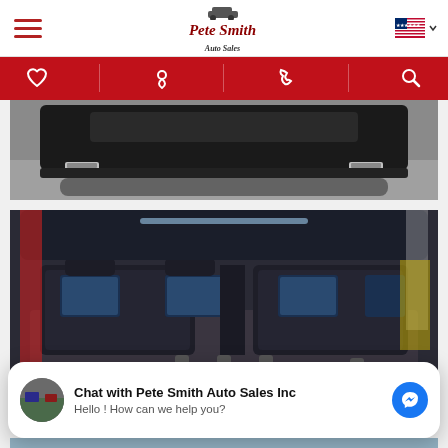Pete Smith Auto Sales - Navigation bar with hamburger menu, logo, and flag
[Figure (screenshot): Red icon navigation bar with heart, location pin, phone, and search icons on red background]
[Figure (photo): Rear view of a car showing exhaust tips on pavement]
[Figure (photo): Interior cargo area of an SUV with folded rear seats, showing back seats and cargo floor with hooks]
Chat with Pete Smith Auto Sales Inc
Hello ! How can we help you?
[Figure (photo): Partial view of bottom of page showing another vehicle photo]